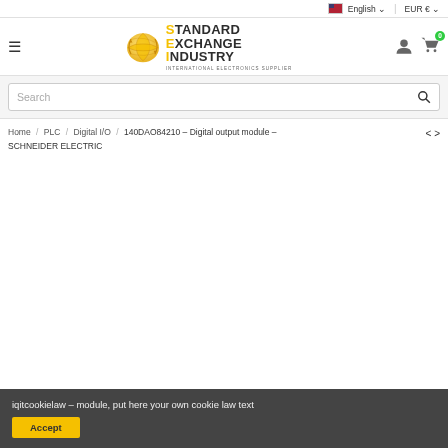English | EUR €
[Figure (logo): Standard Exchange Industry logo with globe icon and text 'STANDARD EXCHANGE INDUSTRY - INTERNATIONAL ELECTRONICS SUPPLIER']
Search
Home / PLC / Digital I/O / 140DAO84210 – Digital output module – SCHNEIDER ELECTRIC
iqitcookielaw – module, put here your own cookie law text
Accept